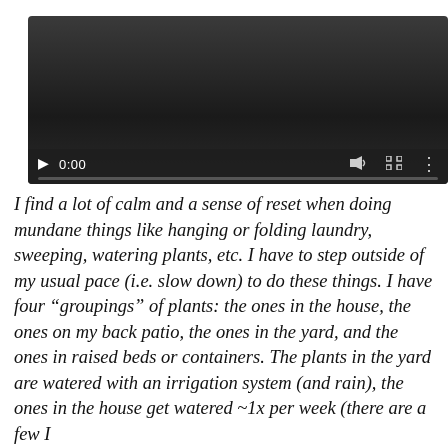[Figure (screenshot): Video player control bar showing play button, timestamp 0:00, volume icon, fullscreen icon, and options icon, with a progress bar below, against a dark background.]
I find a lot of calm and a sense of reset when doing mundane things like hanging or folding laundry, sweeping, watering plants, etc. I have to step outside of my usual pace (i.e. slow down) to do these things. I have four “groupings” of plants: the ones in the house, the ones on my back patio, the ones in the yard, and the ones in raised beds or containers. The plants in the yard are watered with an irrigation system (and rain), the ones in the house get watered ~1x per week (there are a few I